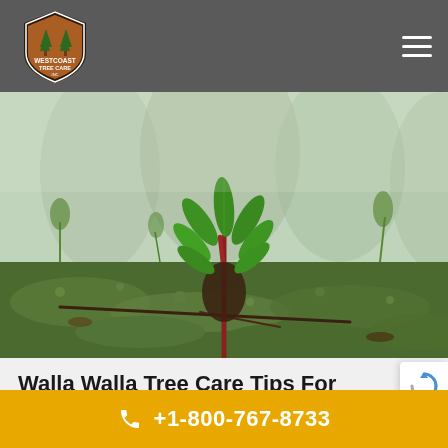[Figure (logo): Westcoast Tree Care Inc logo — shield shape with tree icons, brown/orange/green colors, white text on dark border]
[Figure (photo): Close-up photo of a small young tree seedling with green leaves and reddish stem growing from mossy green ground cover in a forest setting, shallow depth of field]
Walla Walla Tree Care Tips For
+1-800-767-8733